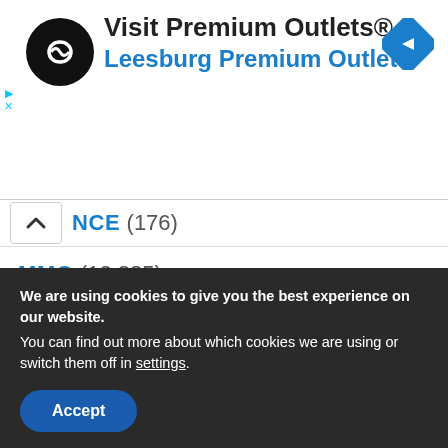[Figure (logo): Visit Premium Outlets advertisement banner with circular black logo with infinity-like symbol, text 'Visit Premium Outlets®' in bold black and 'Leesburg Premium Outlets' in blue, blue diamond navigation icon on right]
NCE (176)
MMO (12,885)
TECHNOLOGY (2,688)
ABOUT
CONTACT
We are using cookies to give you the best experience on our website.
You can find out more about which cookies we are using or switch them off in settings.